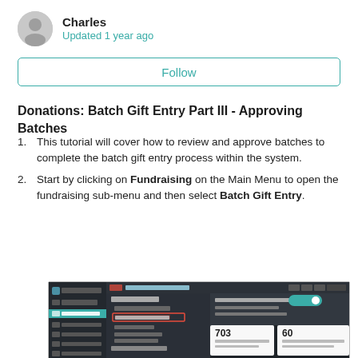Charles
Updated 1 year ago
Follow
Donations: Batch Gift Entry Part III - Approving Batches
This tutorial will cover how to review and approve batches to complete the batch gift entry process within the system.
Start by clicking on Fundraising on the Main Menu to open the fundraising sub-menu and then select Batch Gift Entry.
[Figure (screenshot): Screenshot of a fundraising software interface showing the Fundraising sub-menu with Batch Gift Entry highlighted in a red box, and dashboard statistics showing 703, 60, 50, 97.]